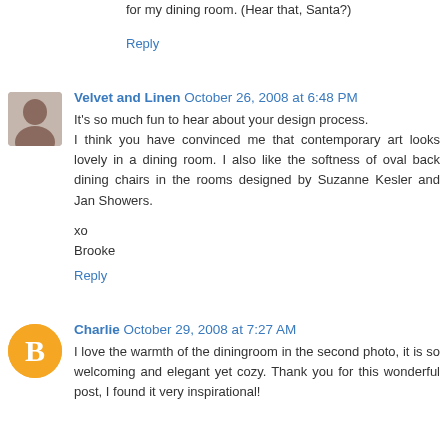for my dining room. (Hear that, Santa?)
Reply
Velvet and Linen  October 26, 2008 at 6:48 PM
It's so much fun to hear about your design process. I think you have convinced me that contemporary art looks lovely in a dining room. I also like the softness of oval back dining chairs in the rooms designed by Suzanne Kesler and Jan Showers.

xo
Brooke
Reply
Charlie  October 29, 2008 at 7:27 AM
I love the warmth of the diningroom in the second photo, it is so welcoming and elegant yet cozy. Thank you for this wonderful post, I found it very inspirational!